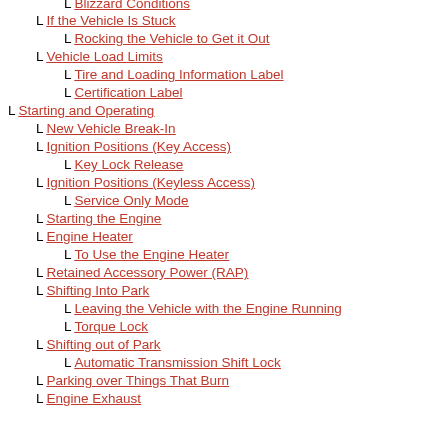Blizzard Conditions
If the Vehicle Is Stuck
Rocking the Vehicle to Get it Out
Vehicle Load Limits
Tire and Loading Information Label
Certification Label
Starting and Operating
New Vehicle Break-In
Ignition Positions (Key Access)
Key Lock Release
Ignition Positions (Keyless Access)
Service Only Mode
Starting the Engine
Engine Heater
To Use the Engine Heater
Retained Accessory Power (RAP)
Shifting Into Park
Leaving the Vehicle with the Engine Running
Torque Lock
Shifting out of Park
Automatic Transmission Shift Lock
Parking over Things That Burn
Engine Exhaust